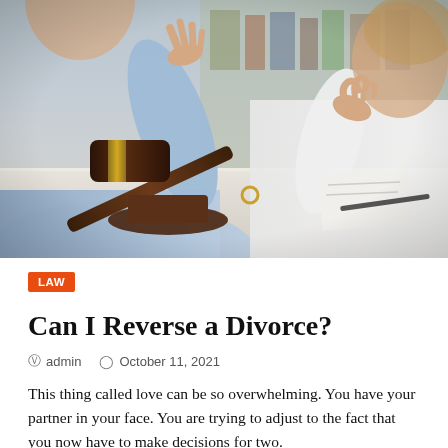[Figure (photo): Two people sitting across a table in discussion, with a judge's gavel and wedding rings in the foreground, suggesting a divorce legal consultation.]
LAW
Can I Reverse a Divorce?
admin   October 11, 2021
This thing called love can be so overwhelming. You have your partner in your face. You are trying to adjust to the fact that you now have to make decisions for two.